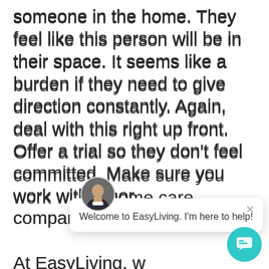someone in the home. They feel like this person will be in their space. It seems like a burden if they need to give direction constantly. Again, deal with this right up front. Offer a trial so they don't feel committed. Make sure you work with a home care company that [partially obscured]

At EasyLiving, we know this is a top concern. Therefore, we build a comprehensive care plan based on the client's
[Figure (other): Chat support popup with avatar photo of a man in a suit. Popup text: 'Welcome to EasyLiving. I'm here to help!' with a close (×) button. A teal chat button with speech bubble icon is visible at bottom right.]